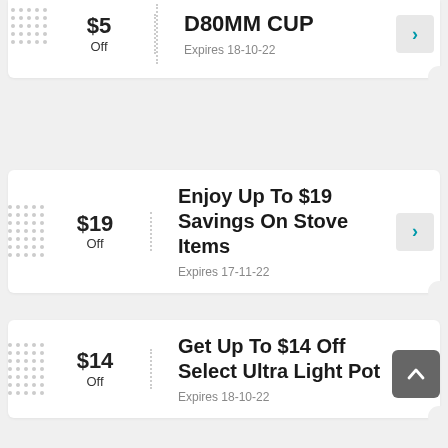$5 Off — D80MM CUP — Expires 18-10-22
Enjoy Up To $19 Savings On Stove Items — Expires 17-11-22
Get Up To $14 Off Select Ultra Light Pot — Expires 18-10-22